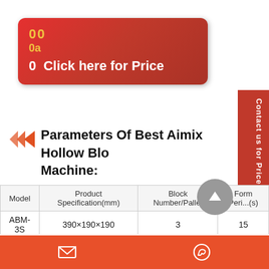[Figure (other): Red rounded button with gold text '00', '0a', '0 Click here for Price']
Parameters Of Best Aimix Hollow Block Machine:
| Model | Product Specification(mm) | Block Number/Pallet | Forming Period(s) |
| --- | --- | --- | --- |
| ABM-3S | 390×190×190 | 3 | 15 |
| ABM-4SE | 390×190×190 | 4 | 24-26 |
Contact toolbar with email and WhatsApp icons